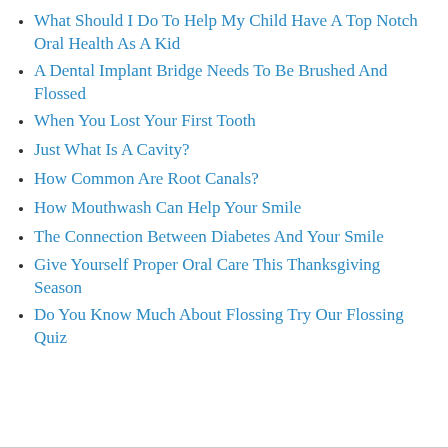What Should I Do To Help My Child Have A Top Notch Oral Health As A Kid
A Dental Implant Bridge Needs To Be Brushed And Flossed
When You Lost Your First Tooth
Just What Is A Cavity?
How Common Are Root Canals?
How Mouthwash Can Help Your Smile
The Connection Between Diabetes And Your Smile
Give Yourself Proper Oral Care This Thanksgiving Season
Do You Know Much About Flossing Try Our Flossing Quiz